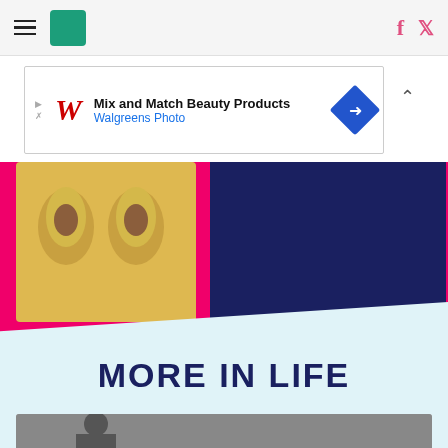HuffPost website header with hamburger menu, logo, Facebook and Twitter icons
[Figure (screenshot): Advertisement banner: Mix and Match Beauty Products - Walgreens Photo]
[Figure (photo): Hot pink background with avocado emoji images on left and dark navy blue rectangular block on right]
MORE IN LIFE
[Figure (photo): Partial photo strip at the bottom of the page]